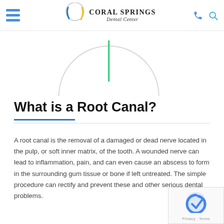Coral Springs Dental Center
[Figure (illustration): Partial circular graphic with a vertical green line, likely a dental logo or decorative circle element]
What is a Root Canal?
A root canal is the removal of a damaged or dead nerve located in the pulp, or soft inner matrix, of the tooth. A wounded nerve can lead to inflammation, pain, and can even cause an abscess to form in the surrounding gum tissue or bone if left untreated. The simple procedure can rectify and prevent these and other serious dental problems.